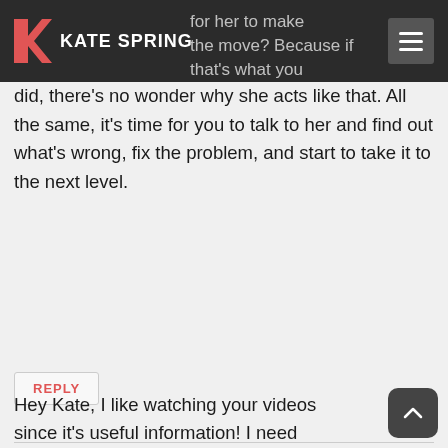Kate Spring
did, there's no wonder why she acts like that. All the same, it's time for you to talk to her and find out what's wrong, fix the problem, and start to take it to the next level.
REPLY
Chris says: January 2, 2019 at 10:32 pm
Hey Kate, I like watching your videos since it's useful information! I need